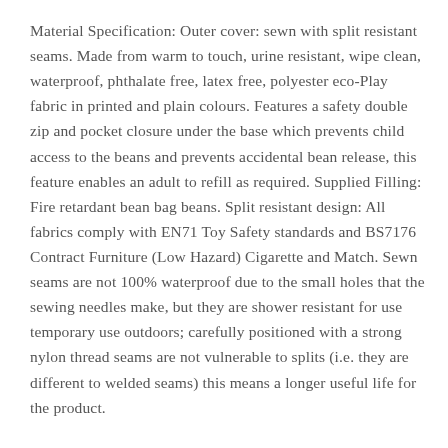Material Specification: Outer cover: sewn with split resistant seams. Made from warm to touch, urine resistant, wipe clean, waterproof, phthalate free, latex free, polyester eco-Play fabric in printed and plain colours. Features a safety double zip and pocket closure under the base which prevents child access to the beans and prevents accidental bean release, this feature enables an adult to refill as required. Supplied Filling: Fire retardant bean bag beans. Split resistant design: All fabrics comply with EN71 Toy Safety standards and BS7176 Contract Furniture (Low Hazard) Cigarette and Match. Sewn seams are not 100% waterproof due to the small holes that the sewing needles make, but they are shower resistant for use temporary use outdoors; carefully positioned with a strong nylon thread seams are not vulnerable to splits (i.e. they are different to welded seams) this means a longer useful life for the product.